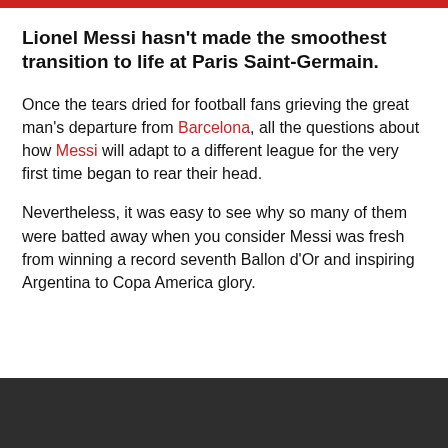Lionel Messi hasn't made the smoothest transition to life at Paris Saint-Germain.
Once the tears dried for football fans grieving the great man's departure from Barcelona, all the questions about how Messi will adapt to a different league for the very first time began to rear their head.
Nevertheless, it was easy to see why so many of them were batted away when you consider Messi was fresh from winning a record seventh Ballon d'Or and inspiring Argentina to Copa America glory.
[Figure (photo): Dark/black image area at bottom of page, likely a photograph partially visible]